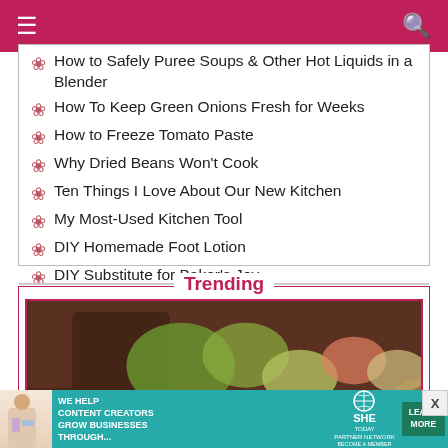≡  🔍
How to Safely Puree Soups & Other Hot Liquids in a Blender
How To Keep Green Onions Fresh for Weeks
How to Freeze Tomato Paste
Why Dried Beans Won't Cook
Ten Things I Love About Our New Kitchen
My Most-Used Kitchen Tool
DIY Homemade Foot Lotion
DIY Substitute for Baker's Joy
Trending
[Figure (photo): Food/salad photo in trending section]
[Figure (infographic): SHE Partner Network advertisement banner: We Help Content Creators Grow Businesses Through... Learn More, Become a Member]